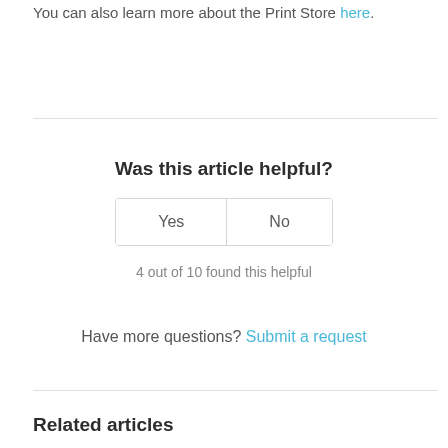You can also learn more about the Print Store here.
Was this article helpful?
Yes   No
4 out of 10 found this helpful
Have more questions? Submit a request
Related articles